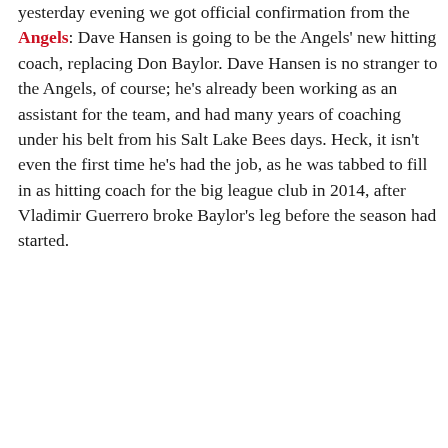yesterday evening we got official confirmation from the Angels: Dave Hansen is going to be the Angels' new hitting coach, replacing Don Baylor. Dave Hansen is no stranger to the Angels, of course; he's already been working as an assistant for the team, and had many years of coaching under his belt from his Salt Lake Bees days. Heck, it isn't even the first time he's had the job, as he was tabbed to fill in as hitting coach for the big league club in 2014, after Vladimir Guerrero broke Baylor's leg before the season had started.